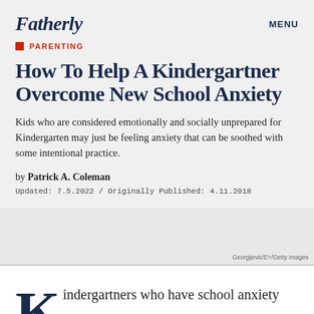Fatherly
PARENTING
How To Help A Kindergartner Overcome New School Anxiety
Kids who are considered emotionally and socially unprepared for Kindergarten may just be feeling anxiety that can be soothed with some intentional practice.
by Patrick A. Coleman
Updated: 7.5.2022 / Originally Published: 4.11.2018
Georgijevic/E+/Getty Images
indergartners who have school anxiety